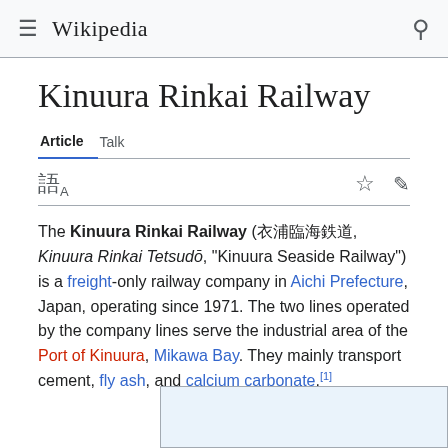Wikipedia
Kinuura Rinkai Railway
Article  Talk
The Kinuura Rinkai Railway (衣浦臨海鉄道, Kinuura Rinkai Tetsudō, "Kinuura Seaside Railway") is a freight-only railway company in Aichi Prefecture, Japan, operating since 1971. The two lines operated by the company lines serve the industrial area of the Port of Kinuura, Mikawa Bay. They mainly transport cement, fly ash, and calcium carbonate.[1]